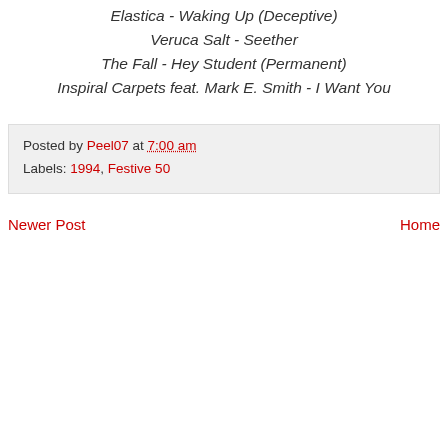Elastica - Waking Up (Deceptive)
Veruca Salt - Seether
The Fall - Hey Student (Permanent)
Inspiral Carpets feat. Mark E. Smith - I Want You
Posted by Peel07 at 7:00 am
Labels: 1994, Festive 50
Newer Post | Home